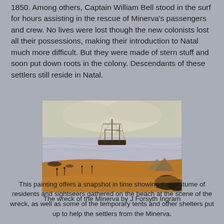1850. Among others, Captain William Bell stood in the surf for hours assisting in the rescue of Minerva's passengers and crew. No lives were lost though the new colonists lost all their possessions, making their introduction to Natal much more difficult. But they were made of stern stuff and soon put down roots in the colony. Descendants of these settlers still reside in Natal.
[Figure (illustration): A painting depicting the wreck of the Minerva showing a ship grounded near shore with sandy beach in foreground and figures visible on the beach, tents visible, coastal scene with grey sky.]
The wreck of the Minerva by J Forsyth Ingram
This painting offers a snapshot in time showing the costume of residents and sightseers gathered on the beach at the scene of the wreck, as well as some of the temporary tents and other shelters put up to help the settlers from the Minerva.